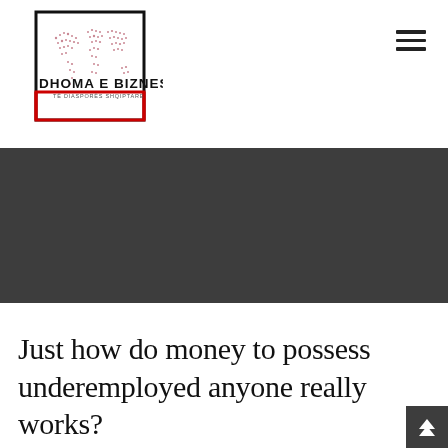[Figure (logo): Dhoma e Biznesit të Diasporës Shqiptare logo — world map dot pattern inside a black and red square border, with organization name text]
[Figure (other): Hamburger menu icon (three horizontal lines) in top right corner]
[Figure (photo): Dark grey/charcoal banner image spanning full width]
Just how do money to possess underemployed anyone really works?